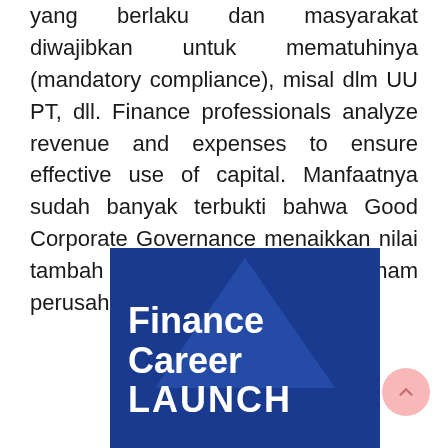yang berlaku dan masyarakat diwajibkan untuk mematuhinya (mandatory compliance), misal dlm UU PT, dll. Finance professionals analyze revenue and expenses to ensure effective use of capital. Manfaatnya sudah banyak terbukti bahwa Good Corporate Governance menaikkan nilai tambah para pemegang saham perusahaan.
[Figure (illustration): Finance Career LAUNCH promotional image with dark blue background and lighter blue triangle graphic, white bold text reading 'Finance Career LAUNCH']